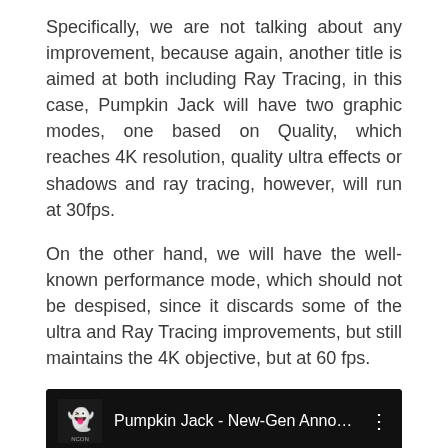Specifically, we are not talking about any improvement, because again, another title is aimed at both including Ray Tracing, in this case, Pumpkin Jack will have two graphic modes, one based on Quality, which reaches 4K resolution, quality ultra effects or shadows and ray tracing, however, will run at 30fps.
On the other hand, we will have the well-known performance mode, which should not be despised, since it discards some of the ultra and Ray Tracing improvements, but still maintains the 4K objective, but at 60 fps.
[Figure (screenshot): YouTube video thumbnail for 'Pumpkin Jack - New-Gen Announc...' showing a pumpkin character on an orange/red background, with a dark title bar at top showing the NCON logo and three-dot menu.]